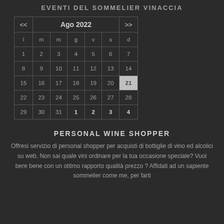EVENTI DEL SOMMELIER VINACCIA
| << | Ago 2022 |  |  |  |  | >> |
| --- | --- | --- | --- | --- | --- | --- |
| l | m | m | g | v | s | d |
| 1 | 2 | 3 | 4 | 5 | 6 | 7 |
| 8 | 9 | 10 | 11 | 12 | 13 | 14 |
| 15 | 16 | 17 | 18 | 19 | 20 | 21 |
| 22 | 23 | 24 | 25 | 26 | 27 | 28 |
| 29 | 30 | 31 | 1 | 2 | 3 | 4 |
PERSONAL WINE SHOPPER
Offresi servizio di personal shopper per acquisti di bottiglie di vino ed alcolici su web. Non sai quale vini ordinare per la tua occasione speciale? Vuoi bere bene con un ottimo rapporto qualità prezzo ? Affidati ad un sapiente sommelier come me, per farti